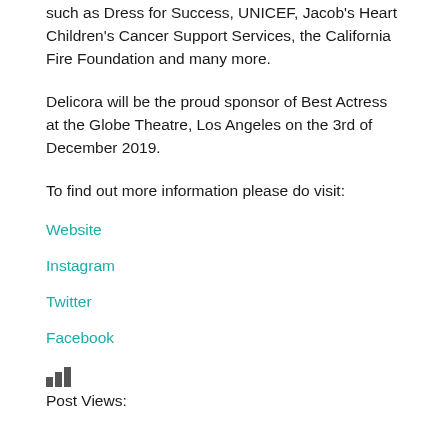such as Dress for Success, UNICEF, Jacob's Heart Children's Cancer Support Services, the California Fire Foundation and many more.
Delicora will be the proud sponsor of Best Actress at the Globe Theatre, Los Angeles on the 3rd of December 2019.
To find out more information please do visit:
Website
Instagram
Twitter
Facebook
Post Views: